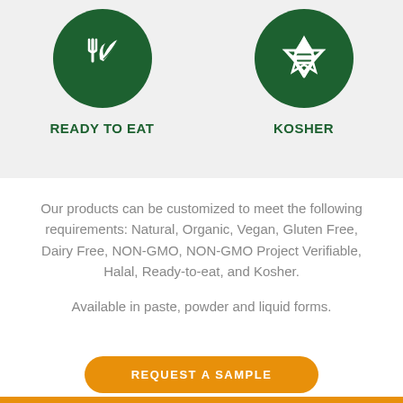[Figure (illustration): Green circle icon with fork and leaf, labeled READY TO EAT]
[Figure (illustration): Green circle icon with Star of David, labeled KOSHER]
Our products can be customized to meet the following requirements: Natural, Organic, Vegan, Gluten Free, Dairy Free, NON-GMO, NON-GMO Project Verifiable, Halal, Ready-to-eat, and Kosher.
Available in paste, powder and liquid forms.
REQUEST A SAMPLE